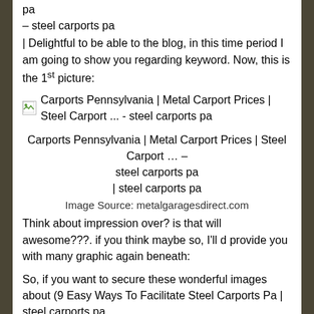pa
– steel carports pa
| Delightful to be able to the blog, in this time period I am going to show you regarding keyword. Now, this is the 1st picture:
[Figure (other): Broken image icon followed by caption: Carports Pennsylvania | Metal Carport Prices | Steel Carport ... - steel carports pa]
Carports Pennsylvania | Metal Carport Prices | Steel Carport … – steel carports pa
| steel carports pa
Image Source: metalgaragesdirect.com
Think about impression over? is that will awesome???. if you think maybe so, I'll d provide you with many graphic again beneath:
So, if you want to secure these wonderful images about (9 Easy Ways To Facilitate Steel Carports Pa | steel carports pa
), click on save button to download these pictures in your pc. They're available for obtain, if you want and want to get it, just click save logo on the web page, and it will be